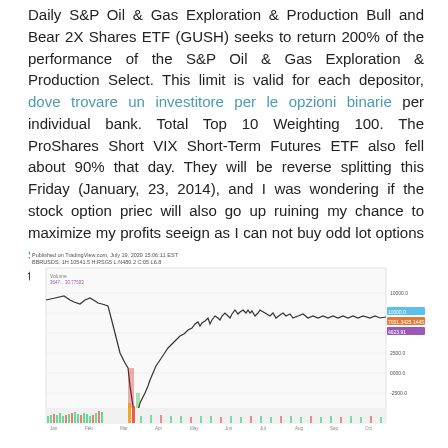Daily S&P Oil & Gas Exploration & Production Bull and Bear 2X Shares ETF (GUSH) seeks to return 200% of the performance of the S&P Oil & Gas Exploration & Production Select. This limit is valid for each depositor, dove trovare un investitore per le opzioni binarie per individual bank. Total Top 10 Weighting 100. The ProShares Short VIX Short-Term Futures ETF also fell about 90% that day. They will be reverse splitting this Friday (January, 23, 2014), and I was wondering if the stock option priec will also go up ruining my chance to maximize my profits seeign as I can not buy odd lot options scambia opzioni binarie con bitcoin in smaller amounts than 100. One common two-letter extension is.
[Figure (continuous-plot): TradingView candlestick/line chart of BBRUSDS showing price action with volume bars at bottom. Chart shows a large drop followed by recovery. Published on TradingView.com, July 19, 2020. Labels show BBRUSDS, 1H, H:10541.5, H:RSG5 L:N480.2 C:05 L6.8. Volume indicator shown. Price range approximately 2000-10000.0 on right axis. Multiple colored price labels on right side.]